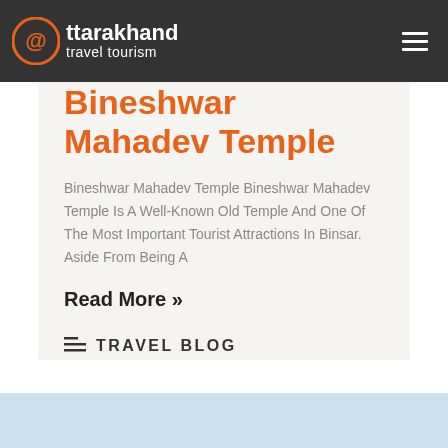@uttarakhand travel tourism
Bineshwar Mahadev Temple
Bineshwar Mahadev Temple Bineshwar Mahadev Temple Is A Well-Known Old Temple And One Of The Most Important Tourist Attractions In Binsar. Aside From Being A
Read More »
TRAVEL BLOG